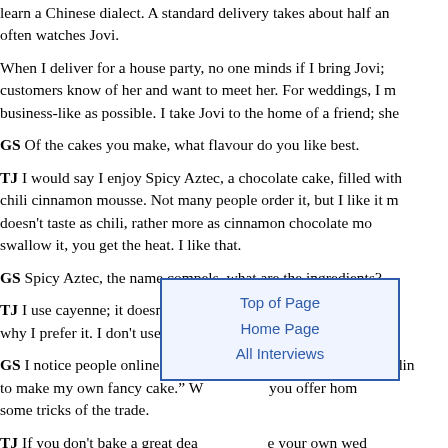learn a Chinese dialect. A standard delivery takes about half an hour and she often watches Jovi.
When I deliver for a house party, no one minds if I bring Jovi; some customers know of her and want to meet her. For weddings, I must be as business-like as possible. I take Jovi to the home of a friend; she
GS Of the cakes you make, what flavour do you like best.
TJ I would say I enjoy Spicy Aztec, a chocolate cake, filled with chili cinnamon mousse. Not many people order it, but I like it more. It doesn't taste as chili, rather more as cinnamon chocolate mo... swallow it, you get the heat. I like that.
GS Spicy Aztec, the name compels, what are the ingredients?
TJ I use cayenne; it doesn't add a savory flavor. Cayenne adds ... why I prefer it. I don't use chipotle peppers or anything like that.
GS I notice people online saying, “I want to make my own wedding... to make my own fancy cake.” W... you offer hom... some tricks of the trade.
[Figure (other): Navigation box with links: Top of Page, Home Page, All Interviews]
TJ If you don't bake a great dea... your own wed... you make a fake one. A weddi... many tiers or in... project to take on, close to your wedding day.
If you're a home baker, I assume you're not buying your own in...